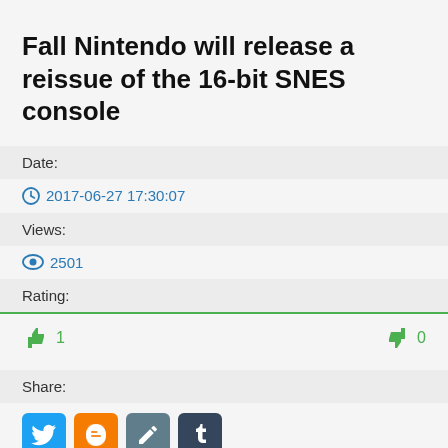Fall Nintendo will release a reissue of the 16-bit SNES console
Date:
2017-06-27 17:30:07
Views:
2501
Rating:
1 (thumbs up) 0 (thumbs down)
Share:
[Figure (other): Social share buttons: Twitter, Blogger, Edit/Pen, Tumblr]
Main / video games /